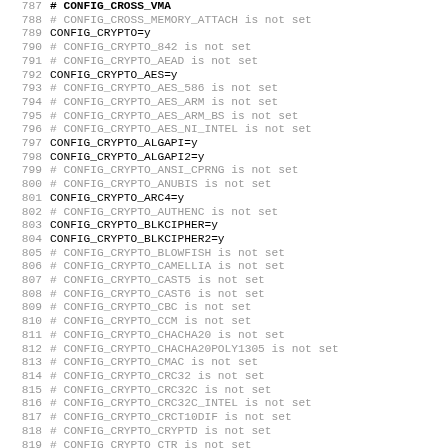787 CONFIG_CROSS_VMA (partial, cut off at top)
788 # CONFIG_CROSS_MEMORY_ATTACH is not set
789 CONFIG_CRYPTO=y
790 # CONFIG_CRYPTO_842 is not set
791 # CONFIG_CRYPTO_AEAD is not set
792 CONFIG_CRYPTO_AES=y
793 # CONFIG_CRYPTO_AES_586 is not set
794 # CONFIG_CRYPTO_AES_ARM is not set
795 # CONFIG_CRYPTO_AES_ARM_BS is not set
796 # CONFIG_CRYPTO_AES_NI_INTEL is not set
797 CONFIG_CRYPTO_ALGAPI=y
798 CONFIG_CRYPTO_ALGAPI2=y
799 # CONFIG_CRYPTO_ANSI_CPRNG is not set
800 # CONFIG_CRYPTO_ANUBIS is not set
801 CONFIG_CRYPTO_ARC4=y
802 # CONFIG_CRYPTO_AUTHENC is not set
803 CONFIG_CRYPTO_BLKCIPHER=y
804 CONFIG_CRYPTO_BLKCIPHER2=y
805 # CONFIG_CRYPTO_BLOWFISH is not set
806 # CONFIG_CRYPTO_CAMELLIA is not set
807 # CONFIG_CRYPTO_CAST5 is not set
808 # CONFIG_CRYPTO_CAST6 is not set
809 # CONFIG_CRYPTO_CBC is not set
810 # CONFIG_CRYPTO_CCM is not set
811 # CONFIG_CRYPTO_CHACHA20 is not set
812 # CONFIG_CRYPTO_CHACHA20POLY1305 is not set
813 # CONFIG_CRYPTO_CMAC is not set
814 # CONFIG_CRYPTO_CRC32 is not set
815 # CONFIG_CRYPTO_CRC32C is not set
816 # CONFIG_CRYPTO_CRC32C_INTEL is not set
817 # CONFIG_CRYPTO_CRCT10DIF is not set
818 # CONFIG_CRYPTO_CRYPTD is not set
819 # CONFIG_CRYPTO_CTR is not set